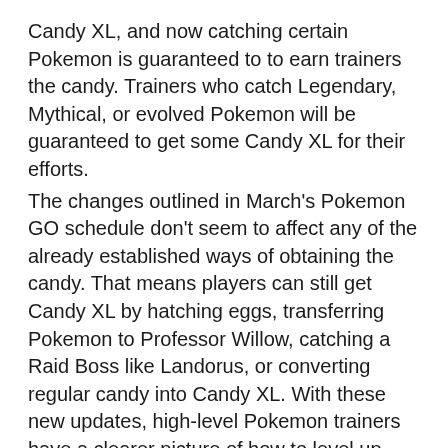Candy XL, and now catching certain Pokemon is guaranteed to to earn trainers the candy. Trainers who catch Legendary, Mythical, or evolved Pokemon will be guaranteed to get some Candy XL for their efforts.
The changes outlined in March's Pokemon GO schedule don't seem to affect any of the already established ways of obtaining the candy. That means players can still get Candy XL by hatching eggs, transferring Pokemon to Professor Willow, catching a Raid Boss like Landorus, or converting regular candy into Candy XL. With these new updates, high-level Pokemon trainers have a clearer picture of how to level up their powerful Pokemon.
While most of the tasks featured in Pokemon GO's Season of Legends Special Research are fairly straightforward, that is not the case with absolutely all of them. For example, there is task that centers around taking a snapshot of Landorus, and indeed it